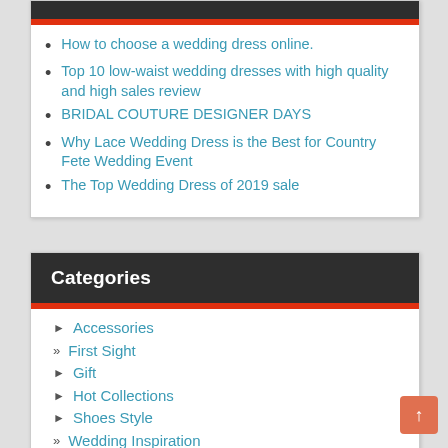How to choose a wedding dress online.
Top 10 low-waist wedding dresses with high quality and high sales review
BRIDAL COUTURE DESIGNER DAYS
Why Lace Wedding Dress is the Best for Country Fete Wedding Event
The Top Wedding Dress of 2019 sale
Categories
► Accessories
» First Sight
► Gift
► Hot Collections
► Shoes Style
» Wedding Inspiration